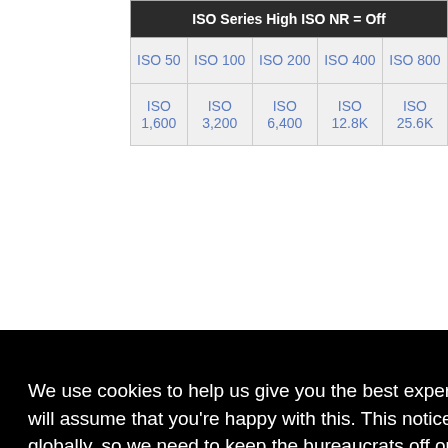| ISO Series High ISO NR = Off |
| --- |
| ISO 50 | ISO 100 | ISO 200 | ISO 400 | ISO 800 |
| ISO 1,600 | ISO 3,200 | ISO 6,400 | ISO 12.8K | ISO 25.6K |
We use cookies to help us give you the best experience on IR. If you continue to use this site, we will assume that you're happy with this. This notice is required by recent EU rules, and IR is read globally, so we need to keep the bureaucrats off our case!
Learn more
Got it!
| ISO 50 | ISO 100 | ISO | ISO | ISO | ISO | ISO |
| --- | --- | --- | --- | --- | --- | --- |